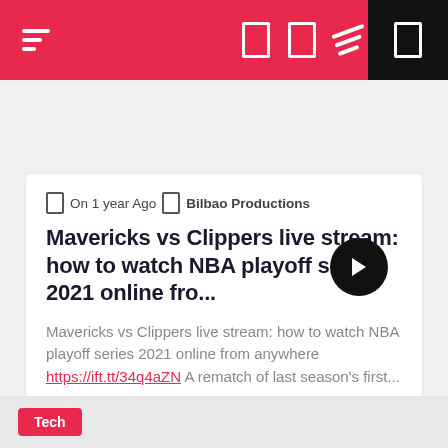[Figure (screenshot): Mobile app navigation bar with hamburger menu, two box icons, diagonal stripes icon, and a black section on the right]
[Figure (other): Red circular back button]
🗓 On 1 year Ago 🗓 Bilbao Productions
Mavericks vs Clippers live stream: how to watch NBA playoff series 2021 online fro...
Mavericks vs Clippers live stream: how to watch NBA playoff series 2021 online from anywhere https://ift.tt/34q4aZN A rematch of last season's first...
Read More
[Figure (other): Black circular forward navigation button]
Tech